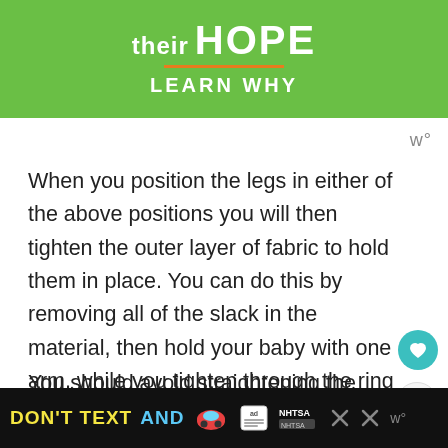[Figure (illustration): Green advertisement banner with white text reading 'their HOPE' and 'LEARN WHY' with an orange underline below HOPE]
When you position the legs in either of the above positions you will then tighten the outer layer of fabric to hold them in place. You can do this by removing all of the slack in the material, then hold your baby with one arm, while you tighten through the ring with the other.
You should avoid straightening the legs
[Figure (illustration): Bottom advertisement bar: black background with yellow text 'DON'T TEXT' and cyan text 'AND' followed by a car emoji, ad icon, NHTSA logo, and close buttons]